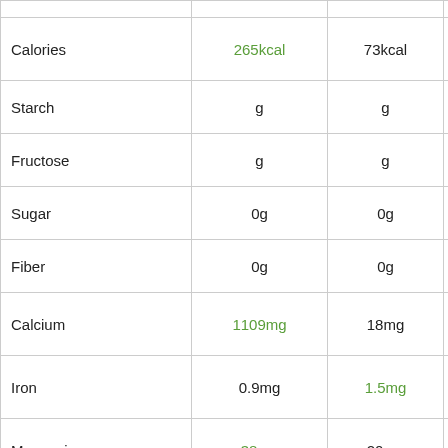| Nutrient | Value (per 100g) | Value (per serving) | Image |
| --- | --- | --- | --- |
| Calories | 265kcal | 73kcal |  |
| Starch | g | g |  |
| Fructose | g | g |  |
| Sugar | 0g | 0g |  |
| Fiber | 0g | 0g |  |
| Calcium | 1109mg | 18mg |  |
| Iron | 0.9mg | 1.5mg |  |
| Magnesium | 38mg | 20mg |  |
| Phosphorus | 729mg | 147mg |  |